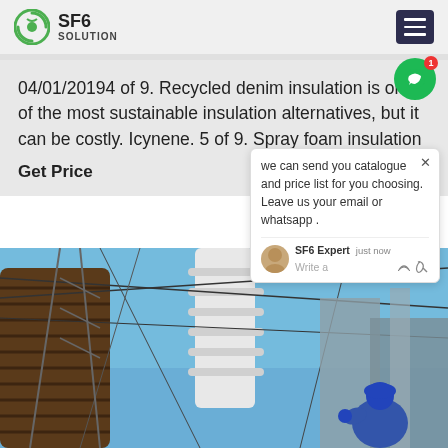SF6 SOLUTION
04/01/20194 of 9. Recycled denim insulation is one of the most sustainable insulation alternatives, but it can be costly. Icynene. 5 of 9. Spray foam insulation
Get Price
[Figure (photo): Electrical substation equipment with large insulated cable conduits, power lines, and a worker in blue safety gear working on equipment against a blue sky background]